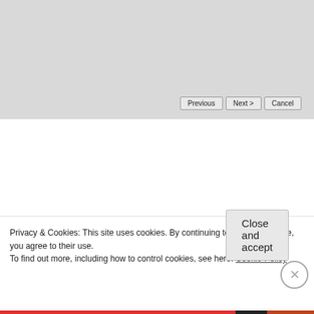[Figure (screenshot): Top portion of a Windows Setup dialog showing a grey background area with Previous, Next, and Cancel navigation buttons in the lower right.]
[Figure (screenshot): Operations Manager Setup dialog window showing Prerequisites step. Contains a progress bar (two blue segments, three grey segments), an error panel titled 'The Setup wizard cannot continue', explanatory text about hardware and software requirements, an 'Expand all' control, and an 'Operations console' section link with collapse button.]
Privacy & Cookies: This site uses cookies. By continuing to use this website, you agree to their use.
To find out more, including how to control cookies, see here: Cookie Policy
Close and accept